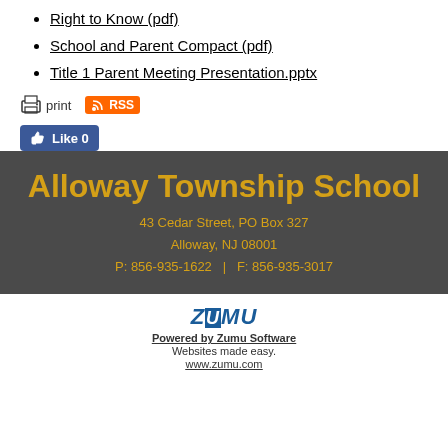Right to Know (pdf)
School and Parent Compact (pdf)
Title 1 Parent Meeting Presentation.pptx
print  RSS  Like 0
Alloway Township School
43 Cedar Street, PO Box 327
Alloway, NJ 08001
P: 856-935-1622  |  F: 856-935-3017
ZUMU
Powered by Zumu Software
Websites made easy.
www.zumu.com